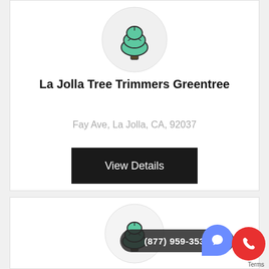[Figure (logo): Tree icon in a circular light gray background — green tree with dark outline]
La Jolla Tree Trimmers Greentree
Fay Ave, La Jolla, CA, 92037
View Details
[Figure (logo): Second tree icon in a circular light gray background — green tree with dark outline]
(877) 959-3534
Terms